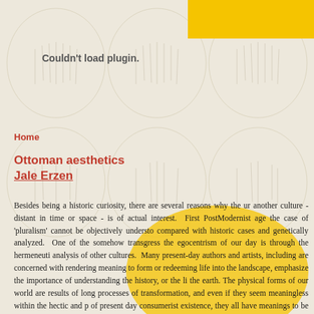[Figure (illustration): Decorative background with repeating oval/circle motifs containing stylized human figures, arranged in a grid pattern across the page. A yellow banner appears in the top right corner. A yellow elliptical highlight overlays the lower-middle section of the page. A message 'Couldn't load plugin.' appears in the upper area.]
Couldn't load plugin.
Home
Ottoman aesthetics
Jale Erzen
Besides being a historic curiosity, there are several reasons why the ur another culture - distant in time or space - is of actual interest. First PostModernist age the case of 'pluralism' cannot be objectively understo compared with historic cases and genetically analyzed. One of the somehow transgress the egocentrism of our day is through the hermeneuti analysis of other cultures. Many present-day authors and artists, including are concerned with rendering meaning to form or redeeming life into the landscape, emphasize the importance of understanding the history, or the li the earth. The physical forms of our world are results of long processes of transformation, and even if they seem meaningless within the hectic and p of present day consumerist existence, they all have meanings to be c